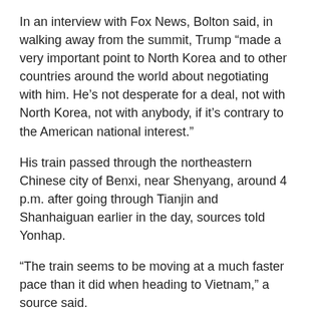In an interview with Fox News, Bolton said, in walking away from the summit, Trump “made a very important point to North Korea and to other countries around the world about negotiating with him. He’s not desperate for a deal, not with North Korea, not with anybody, if it’s contrary to the American national interest.”
His train passed through the northeastern Chinese city of Benxi, near Shenyang, around 4 p.m. after going through Tianjin and Shanhaiguan earlier in the day, sources told Yonhap.
“The train seems to be moving at a much faster pace than it did when heading to Vietnam,” a source said.
Kim’s train was expected to reach Dandong station and then cross the Yalu River, also known as the Amrok River, near the border late on March 4, the Yonhap report said.